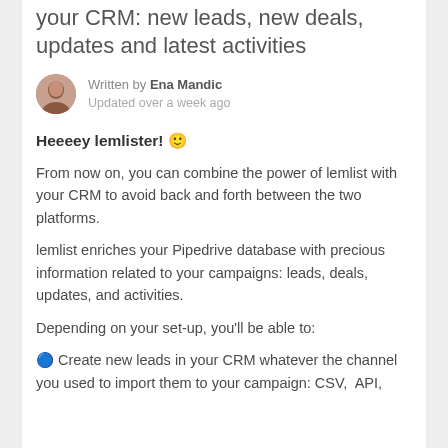your CRM: new leads, new deals, updates and latest activities
Written by Ena Mandic
Updated over a week ago
Heeeey lemlister! 🙂
From now on, you can combine the power of lemlist with your CRM to avoid back and forth between the two platforms.
lemlist enriches your Pipedrive database with precious information related to your campaigns: leads, deals, updates, and activities.
Depending on your set-up, you'll be able to:
🔵 Create new leads in your CRM whatever the channel you used to import them to your campaign: CSV,  API,